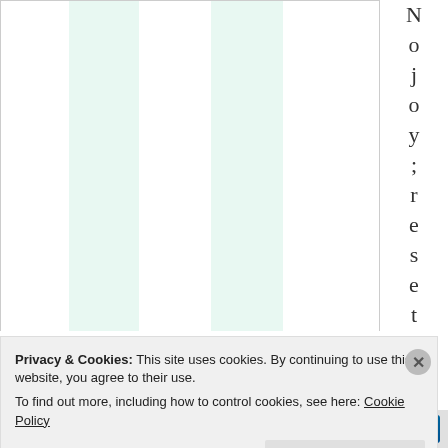[Figure (table-as-image): Partial view of a table with vertical column dividers, alternating white and light green columns. The rightmost area shows vertically stacked characters spelling 'No joy; reset']
No joy; reset
Privacy & Cookies: This site uses cookies. By continuing to use this website, you agree to their use.
To find out more, including how to control cookies, see here: Cookie Policy
Close and accept